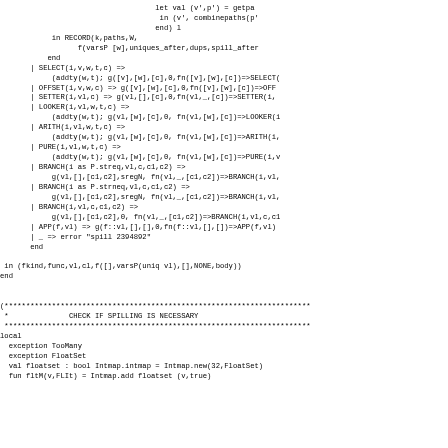let val (v',p') = getpa
 in (v', combinepaths(p'
 end) l
    in RECORD(k,paths,W,
          f(varsP [w],uniques_after,dups,spill_after
       end
   | SELECT(i,v,w,t,c) =>
        (addty(w,t); g([v],[w],[c],0,fn([v],[w],[c])=>SELECT(
   | OFFSET(i,v,w,c) => g([v],[w],[c],0,fn([v],[w],[c])=>OFF
   | SETTER(i,vl,c) => g(vl,[],[c],0,fn(vl,_,[c])=>SETTER(i,
   | LOOKER(i,vl,w,t,c) =>
        (addty(w,t); g(vl,[w],[c],0, fn(vl,[w],[c])=>LOOKER(i
   | ARITH(i,vl,w,t,c) =>
        (addty(w,t); g(vl,[w],[c],0, fn(vl,[w],[c])=>ARITH(i,
   | PURE(i,vl,w,t,c) =>
        (addty(w,t); g(vl,[w],[c],0, fn(vl,[w],[c])=>PURE(i,v
   | BRANCH(i as P.streq,vl,c,c1,c2) =>
        g(vl,[],[c1,c2],sregN, fn(vl,_,[c1,c2])=>BRANCH(i,vl,
   | BRANCH(i as P.strneq,vl,c,c1,c2) =>
        g(vl,[],[c1,c2],sregN, fn(vl,_,[c1,c2])=>BRANCH(i,vl,
   | BRANCH(i,vl,c,c1,c2) =>
        g(vl,[],[c1,c2],0, fn(vl,_,[c1,c2])=>BRANCH(i,vl,c,c1
   | APP(f,vl) => g(f::vl,[],[],0,fn(f::vl,[],[])=>APP(f,vl)
   | _ => error "spill 2394892"
   end

 in (fkind,func,vl,cl,f([],varsP(uniq vl),[],NONE,body))
end


(***********************************************************************
 *              CHECK IF SPILLING IS NECESSARY
 ***********************************************************************
local
  exception TooMany
  exception FloatSet
  val floatset : bool Intmap.intmap = Intmap.new(32,FloatSet)
  fun fltM(v,FLIt) = Intmap.add floatset (v,true)